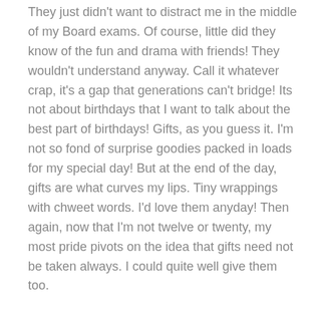They just didn't want to distract me in the middle of my Board exams. Of course, little did they know of the fun and drama with friends! They wouldn't understand anyway. Call it whatever crap, it's a gap that generations can't bridge! Its not about birthdays that I want to talk about the best part of birthdays! Gifts, as you guess it. I'm not so fond of surprise goodies packed in loads for my special day! But at the end of the day, gifts are what curves my lips. Tiny wrappings with chweet words. I'd love them anyday! Then again, now that I'm not twelve or twenty, my most pride pivots on the idea that gifts need not be taken always. I could quite well give them too.
Gifts as I said. They are precious beyond the price.